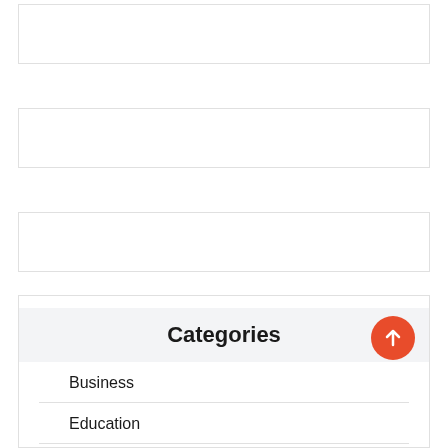[Figure (other): Empty bordered box at top]
[Figure (other): Empty bordered box in middle]
[Figure (other): Empty bordered box lower]
Categories
Business
Education